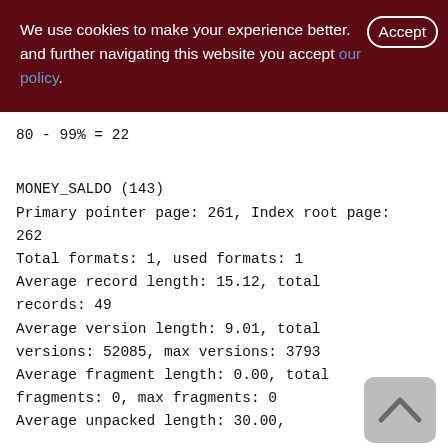We use cookies to make your experience better. By accepting and further navigating this website you accept our policy.
80 - 99% = 22
MONEY_SALDO (143)
Primary pointer page: 261, Index root page: 262
Total formats: 1, used formats: 1
Average record length: 15.12, total records: 49
Average version length: 9.01, total versions: 52085, max versions: 3793
Average fragment length: 0.00, total fragments: 0, max fragments: 0
Average unpacked length: 30.00,